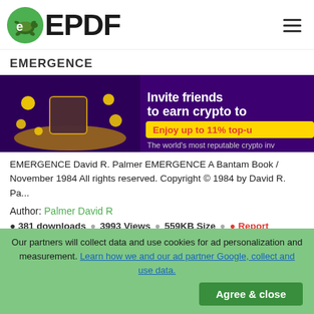ePDF logo and navigation
EMERGENCE
[Figure (photo): Crypto advertisement banner: 'Invite friends to earn crypto to... Enjoy up to 11% top-u... The world's most reputable crypto inv...' with gold coins and hourglass illustration on dark purple background]
EMERGENCE David R. Palmer EMERGENCE A Bantam Book / November 1984 All rights reserved. Copyright © 1984 by David R. Pa...
Author: Palmer David R
381 downloads  3993 Views  559KB Size  Report
This content was uploaded by our users and we assume good
Our partners will collect data and use cookies for ad personalization and measurement. Learn how we and our ad partner Google, collect and use data.
Agree & close